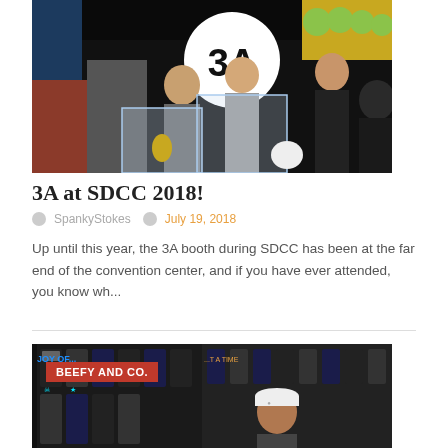[Figure (photo): Photo of 3A booth at SDCC 2018 convention, showing people at a table with display cases containing collectible figures and a large 3A logo sign on a black background]
3A at SDCC 2018!
SpankyStokes  July 19, 2018
Up until this year, the 3A booth during SDCC has been at the far end of the convention center, and if you have ever attended, you know wh...
[Figure (photo): Photo of Beefy and Co. booth at convention showing merchandise including bags/totes hanging on display, with a person in a white cap visible. Red label overlay reads BEEFY AND CO.]